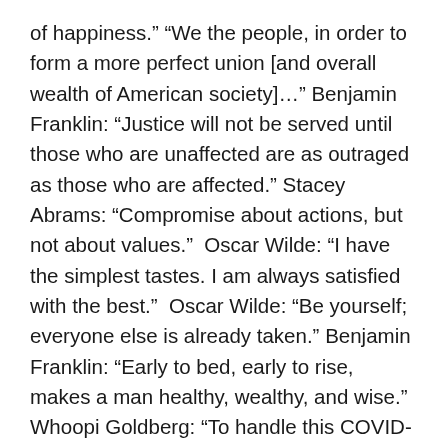of happiness.” “We the people, in order to form a more perfect union [and overall wealth of American society]…” Benjamin Franklin: “Justice will not be served until those who are unaffected are as outraged as those who are affected.” Stacey Abrams: “Compromise about actions, but not about values.”  Oscar Wilde: “I have the simplest tastes. I am always satisfied with the best.”  Oscar Wilde: “Be yourself; everyone else is already taken.” Benjamin Franklin: “Early to bed, early to rise, makes a man healthy, wealthy, and wise.”  Whoopi Goldberg: “To handle this COVID-19 pandemic effectively, we all need to get on the same page.”  Note: To be clear, I do not like being patronized. I do not express my disdain over what happens to my fellow humans just for my own sake and to pursue favors and handouts. I do it in order to gain R – E – S – P – E – C – T for me and for millions of other